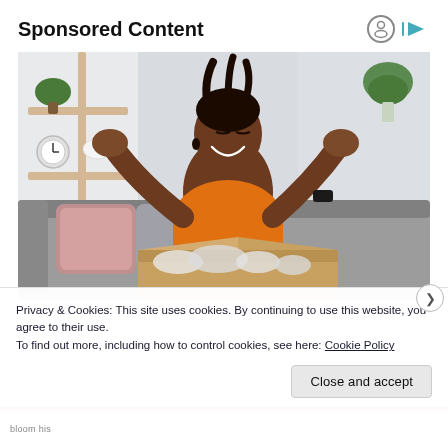Sponsored Content
[Figure (photo): A smiling woman in an orange t-shirt sitting on a grey sofa, arms raised with open hands in a surprised/excited gesture, looking down at an open cardboard box with packaging material in front of her. Background shows shelves with plants and home decor items.]
Privacy & Cookies: This site uses cookies. By continuing to use this website, you agree to their use.
To find out more, including how to control cookies, see here: Cookie Policy
Close and accept